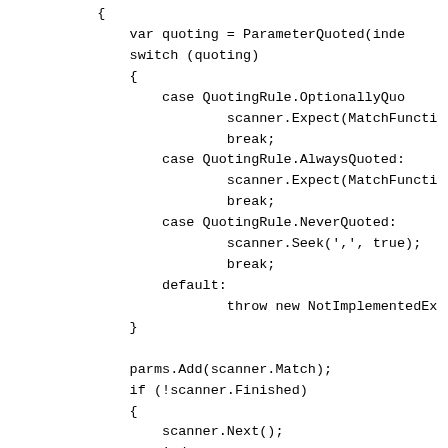{
    var quoting = ParameterQuoted(inde
    switch (quoting)
    {
        case QuotingRule.OptionallyQuo
                scanner.Expect(MatchFuncti
                break;
        case QuotingRule.AlwaysQuoted:
                scanner.Expect(MatchFuncti
                break;
        case QuotingRule.NeverQuoted:
                scanner.Seek(',', true);
                break;
        default:
                throw new NotImplementedEx
    }

    parms.Add(scanner.Match);
    if (!scanner.Finished)
    {
        scanner.Next();
        index++;
    }

}